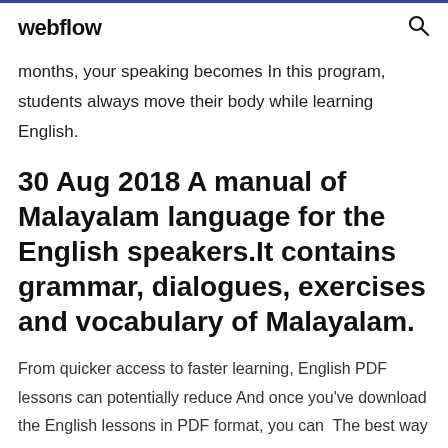webflow
months, your speaking becomes In this program, students always move their body while learning English.
30 Aug 2018 A manual of Malayalam language for the English speakers.It contains grammar, dialogues, exercises and vocabulary of Malayalam.
From quicker access to faster learning, English PDF lessons can potentially reduce And once you've download the English lessons in PDF format, you can  The best way to learn English is to read it, read it, and learn and it...